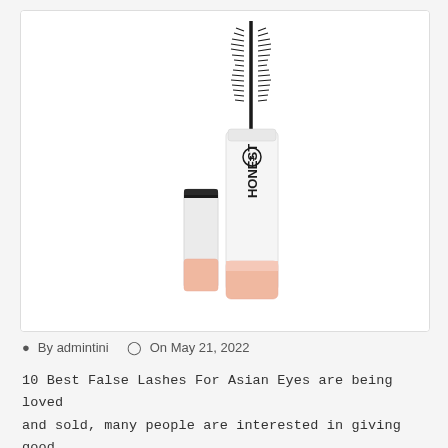[Figure (photo): A white mascara tube with 'HONEST' branding (Honest Beauty), the cap removed and placed beside the tube. The tube has a peach/pink bottom section and a white top with vertical text reading 'HONEST'. The mascara wand is extended above the tube. Product is photographed on a white background.]
By admintini   On May 21, 2022
10 Best False Lashes For Asian Eyes are being loved and sold, many people are interested in giving good